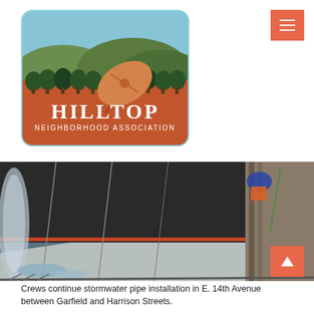[Figure (logo): Hilltop Neighborhood Association logo: orange rounded rectangle background with sky-blue top section showing green hills and dark green trees, with a large orange satellite dish in the center. White text reads HILLTOP in large letters and NEIGHBORHOOD ASSOCIATION below.]
[Figure (photo): Photo of construction work showing stormwater pipe installation. Workers visible handling equipment inside a trench with water, tarps, cables and wooden sheeting visible.]
Crews continue stormwater pipe installation in E. 14th Avenue between Garfield and Harrison Streets.